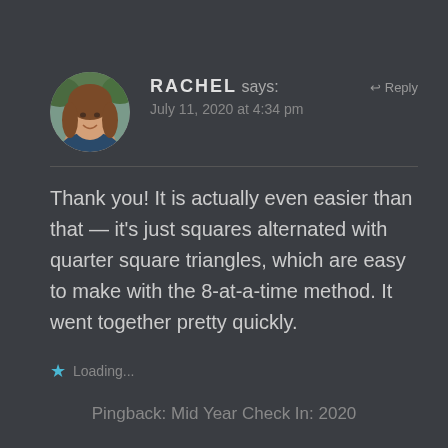[Figure (photo): Circular avatar photo of a woman (Rachel) with brown hair, smiling, against an outdoor background]
RACHEL says:
↩ Reply
July 11, 2020 at 4:34 pm
Thank you! It is actually even easier than that — it’s just squares alternated with quarter square triangles, which are easy to make with the 8-at-a-time method. It went together pretty quickly.
★ Loading...
Pingback: Mid Year Check In: 2020